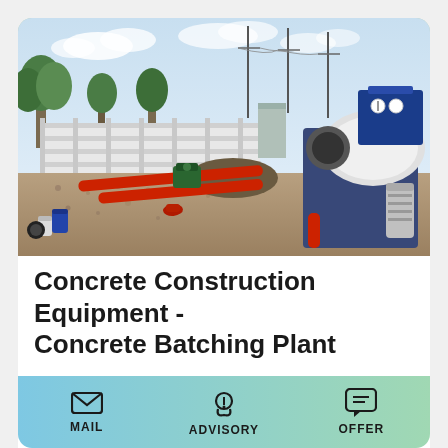[Figure (photo): Outdoor construction site with a concrete batching machine (blue and white drum mixer) on the right, red pipes on the ground, gravel and construction materials, green pump machinery in the background, palm trees and power lines visible, surrounded by a white fence wall.]
Concrete Construction Equipment - Concrete Batching Plant
Company Profile Apollo Inffratech Pvt. Ltd. (AIPL) – One of India's largest manufacturers of high quality concrete